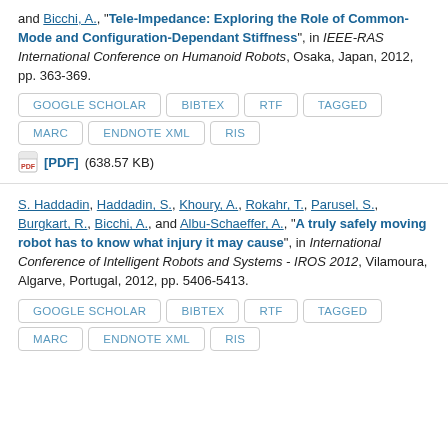and Bicchi, A., "Tele-Impedance: Exploring the Role of Common-Mode and Configuration-Dependant Stiffness", in IEEE-RAS International Conference on Humanoid Robots, Osaka, Japan, 2012, pp. 363-369.
GOOGLE SCHOLAR | BIBTEX | RTF | TAGGED | MARC | ENDNOTE XML | RIS
[PDF] (638.57 KB)
S. Haddadin, Haddadin, S., Khoury, A., Rokahr, T., Parusel, S., Burgkart, R., Bicchi, A., and Albu-Schaeffer, A., "A truly safely moving robot has to know what injury it may cause", in International Conference of Intelligent Robots and Systems - IROS 2012, Vilamoura, Algarve, Portugal, 2012, pp. 5406-5413.
GOOGLE SCHOLAR | BIBTEX | RTF | TAGGED | MARC | ENDNOTE XML | RIS